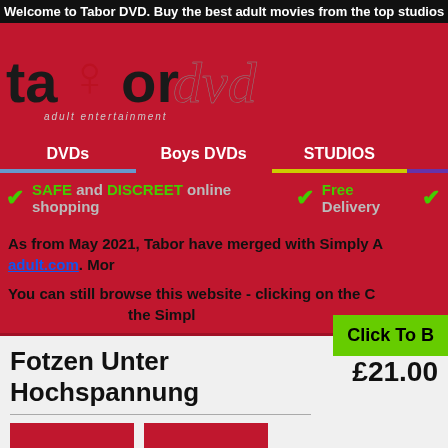Welcome to Tabor DVD. Buy the best adult movies from the top studios
[Figure (logo): Tabor DVD logo with stylized text 'tabordvd adult entertainment' on red background with female silhouette figure]
DVDs   Boys DVDs   STUDIOS
✓ SAFE and DISCREET online shopping   ✓ Free Delivery
As from May 2021, Tabor have merged with Simply A adult.com. Mor
You can still browse this website - clicking on the C the Simpl
Fotzen Unter Hochspannung
£21.00
Click To B